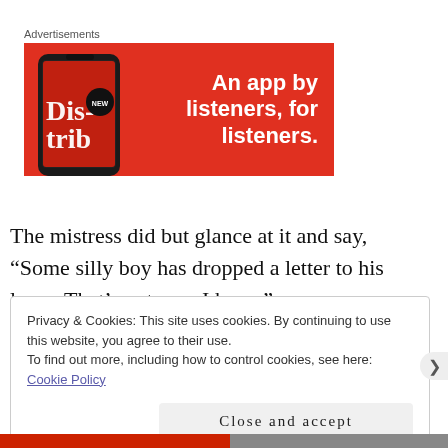Advertisements
[Figure (illustration): Advertisement banner with red background showing a mobile phone with 'Distrib' text visible on screen, and white bold text reading 'An app by listeners, for listeners.']
The mistress did but glance at it and say, “Some silly boy has dropped a letter to his love.  That’s not you, I hope.”
Privacy & Cookies: This site uses cookies. By continuing to use this website, you agree to their use.
To find out more, including how to control cookies, see here: Cookie Policy
Close and accept